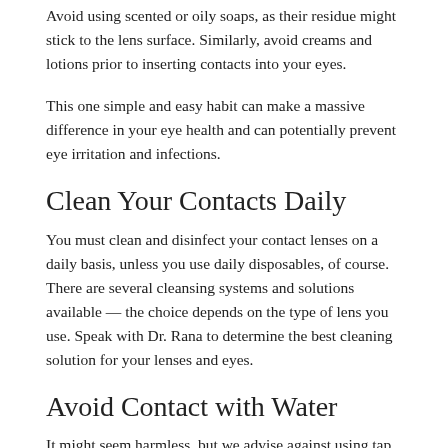Avoid using scented or oily soaps, as their residue might stick to the lens surface. Similarly, avoid creams and lotions prior to inserting contacts into your eyes.
This one simple and easy habit can make a massive difference in your eye health and can potentially prevent eye irritation and infections.
Clean Your Contacts Daily
You must clean and disinfect your contact lenses on a daily basis, unless you use daily disposables, of course. There are several cleansing systems and solutions available — the choice depends on the type of lens you use. Speak with Dr. Rana to determine the best cleaning solution for your lenses and eyes.
Avoid Contact with Water
It might seem harmless, but we advise against using tap water, as it contains impurities and microorganisms that can cause infections. Furthermore, tap water can lead your contacts to swell and change their shape. If you must swim with your contact lenses on, make sure to wear protective goggles and clean them with solution when you come out of the pool.